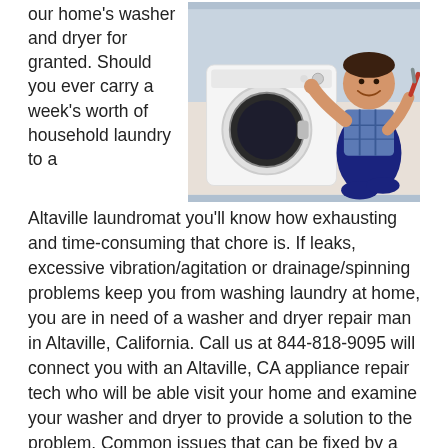our home's washer and dryer for granted. Should you ever carry a week's worth of household laundry to a
[Figure (photo): A smiling repairman in plaid shirt and blue overalls kneeling beside a front-load washing machine with an open door, holding a screwdriver and reaching toward the machine controls.]
Altaville laundromat you'll know how exhausting and time-consuming that chore is. If leaks, excessive vibration/agitation or drainage/spinning problems keep you from washing laundry at home, you are in need of a washer and dryer repair man in Altaville, California. Call us at 844-818-9095 will connect you with an Altaville, CA appliance repair tech who will be able visit your home and examine your washer and dryer to provide a solution to the problem. Common issues that can be fixed by a tech are -
· Belts
· Agitator
· Water Pump